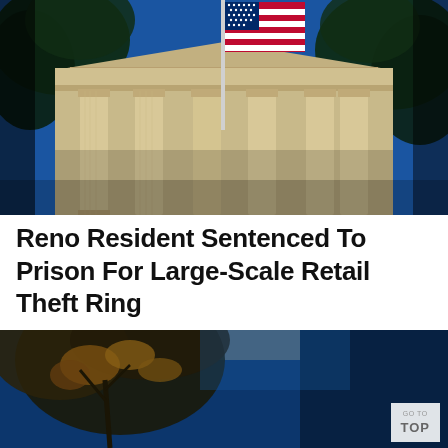[Figure (photo): Exterior of a neoclassical government building with large columns and an American flag on a flagpole against a blue sky, with tree branches visible in the foreground and sides.]
Reno Resident Sentenced To Prison For Large-Scale Retail Theft Ring
[Figure (photo): Partial view of tree branches with sparse autumn leaves against a deep blue sky, same building partially visible. A 'GO TO TOP' button overlay visible in the bottom-right corner.]